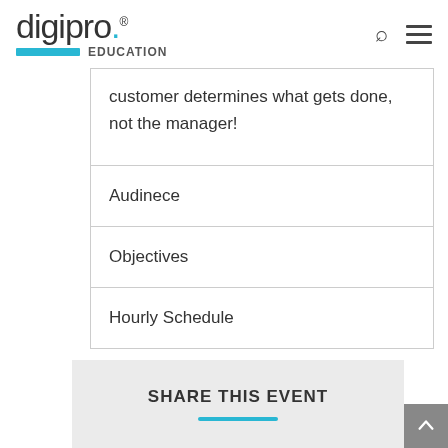digipro. EDUCATION
| customer determines what gets done, not the manager! |
| Audinece |
| Objectives |
| Hourly Schedule |
SHARE THIS EVENT